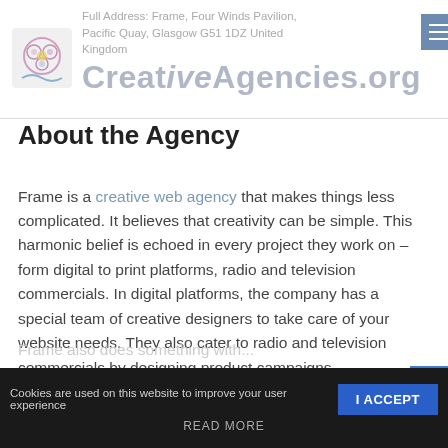Full Address: Frame, Four Winds Pavilion, Pacific Quay, Glasgow G51 1DZ United Kingdom | CreativeAgencies.org
About the Agency
Frame is a creative web agency that makes things less complicated. It believes that creativity can be simple. This harmonic belief is echoed in every project they work on – form digital to print platforms, radio and television commercials. In digital platforms, the company has a special team of creative designers to take care of your website needs. They also cater to radio and television commercials by designing product campaigns.
Cookies are used on this website to improve your user experience
I ACCEPT
READ MORE